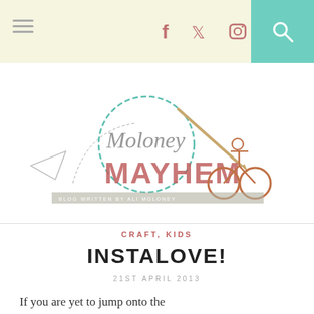Navigation bar with hamburger menu, social icons (Facebook, Twitter, Instagram), and search button
[Figure (logo): Moloney Mayhem blog logo — illustrated with a paper airplane, circle doodle, pencil, and a child on a bicycle. Text reads 'Moloney Mayhem. Blog written by Ali Moloney.']
CRAFT, KIDS
INSTALOVE!
21ST APRIL 2013
If you are yet to jump onto the